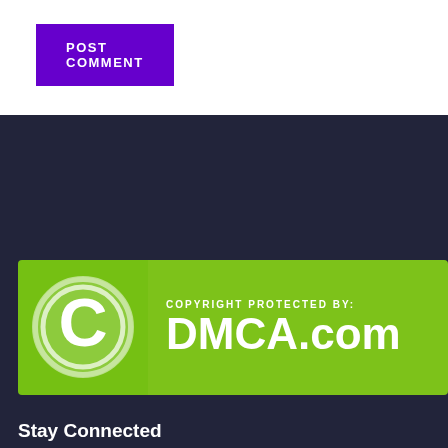POST COMMENT
[Figure (logo): DMCA.com copyright protection badge — green background with large white C copyright symbol on left, and 'COPYRIGHT PROTECTED BY: DMCA.com' text on right]
Stay Connected
[Figure (infographic): Four social media icon buttons: Facebook (f), Twitter (bird), Instagram (camera), YouTube (play button) — dark square backgrounds]
Trang Chủ / Blog / Developer / Trading / WordPress Plugin / WordPress Themes